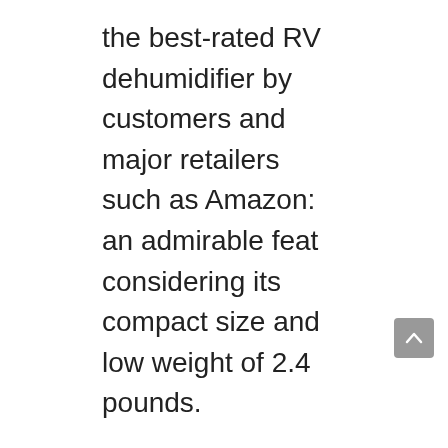the best-rated RV dehumidifier by customers and major retailers such as Amazon: an admirable feat considering its compact size and low weight of 2.4 pounds.
The mini dehumidifier is equipped with a water tank which can hold up to 16 ounces of water. An LED indicator light notifies you when the tank is full and the unit automatically switches off for safety reasons. The lid on the water tank cannot be removed. Instead, you remove the black rubber stopper and turn the